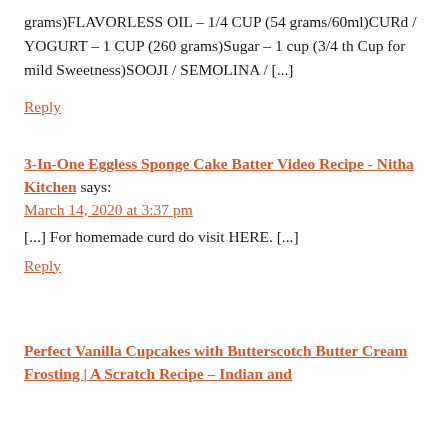grams)FLAVORLESS OIL – 1/4 CUP (54 grams/60ml)CURd / YOGURT – 1 CUP (260 grams)Sugar – 1 cup (3/4 th Cup for mild Sweetness)SOOJI / SEMOLINA / [...]
Reply
3-In-One Eggless Sponge Cake Batter Video Recipe - Nitha Kitchen says:
March 14, 2020 at 3:37 pm
[...] For homemade curd do visit HERE. [...]
Reply
Perfect Vanilla Cupcakes with Butterscotch Butter Cream Frosting | A Scratch Recipe – Indian and